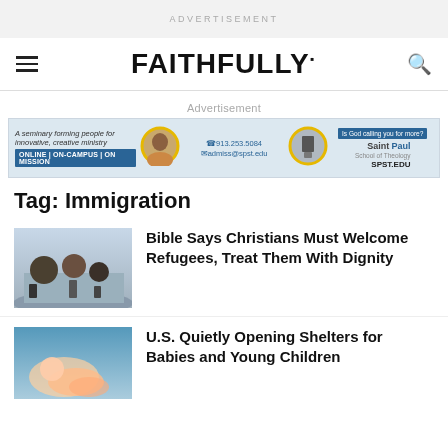ADVERTISEMENT
FAITHFULLY
Advertisement
[Figure (other): Advertisement banner for Saint Paul School of Theology: A seminary forming people for innovative, creative ministry. ONLINE | ON-CAMPUS | ON MISSION. Phone: 913.253.5084, Email: admiss@spst.edu. Is God calling you for more? SPST.EDU]
Tag: Immigration
Bible Says Christians Must Welcome Refugees, Treat Them With Dignity
U.S. Quietly Opening Shelters for Babies and Young Children